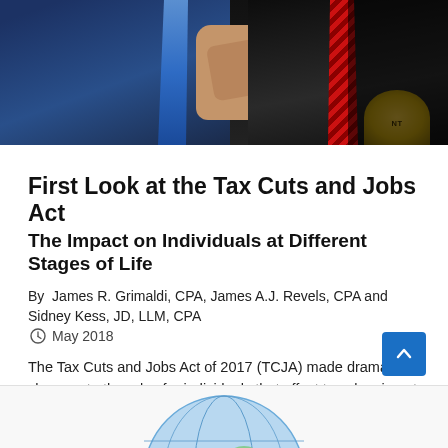[Figure (photo): Photo of two men in suits at a podium signing ceremony, one wearing a blue tie, the other a red striped tie, with a partial presidential seal visible on the right.]
First Look at the Tax Cuts and Jobs Act The Impact on Individuals at Different Stages of Life
By James R. Grimaldi, CPA, James A.J. Revels, CPA and Sidney Kess, JD, LLM, CPA
May 2018
The Tax Cuts and Jobs Act of 2017 (TCJA) made dramatic changes to the rules for individuals that affect tax planning at all stages of...
[Figure (photo): Partial photo of a globe at the bottom of the page.]